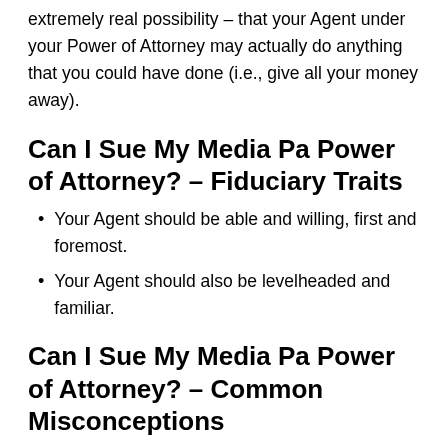extremely real possibility – that your Agent under your Power of Attorney may actually do anything that you could have done (i.e., give all your money away).
Can I Sue My Media Pa Power of Attorney? – Fiduciary Traits
Your Agent should be able and willing, first and foremost.
Your Agent should also be levelheaded and familiar.
Can I Sue My Media Pa Power of Attorney? – Common Misconceptions